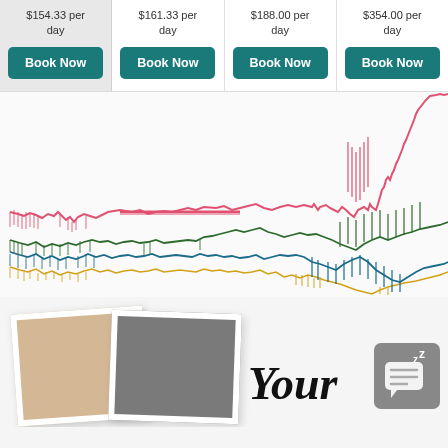$154.33 per day
$161.33 per day
$188.00 per day
$354.00 per day
[Figure (continuous-plot): Multi-series line chart showing price trends over time. Four colored lines: pink/red (highest, spikes sharply upward at right), dark teal/blue (mid-low, flat then volatile), dark green (mid, slightly above teal), and yellow/gold (lowest, relatively flat). All lines show volatility increasing toward the right side of the chart.]
[Figure (photo): Two polaroid-style photos partially visible at bottom left. A chat/messaging icon with Zzz indicator at bottom right. Large italic text 'Your' partially visible.]